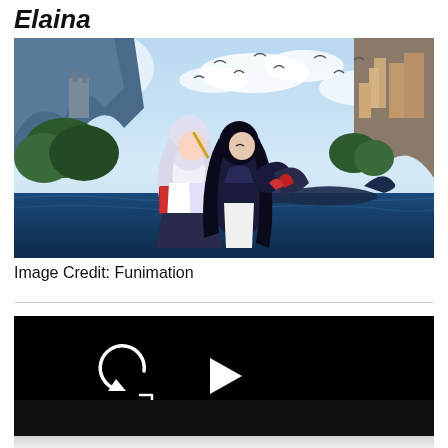Elaina
[Figure (illustration): Anime illustration showing two female characters — one with white/silver hair in a white outfit holding a book and flute, and one with black long hair in a dark outfit — set against a fantasy landscape with mountains, castles, birds, and a blue sky. Image credit: Funimation.]
Image Credit: Funimation
[Figure (screenshot): Video player with black background showing media controls: a replay/rewind 10 seconds button on the left and a play button (triangle) in the center. Bottom of player is partially visible with a thin controls bar.]